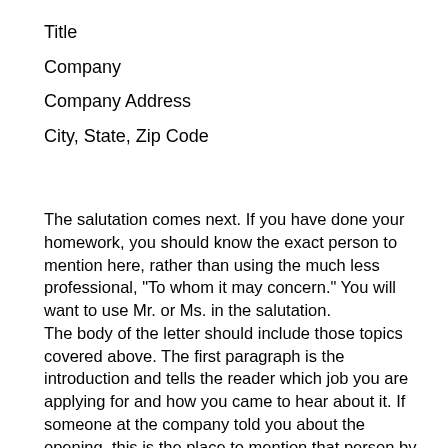Title
Company
Company Address
City, State, Zip Code
The salutation comes next. If you have done your homework, you should know the exact person to mention here, rather than using the much less professional, "To whom it may concern." You will want to use Mr. or Ms. in the salutation.
The body of the letter should include those topics covered above. The first paragraph is the introduction and tells the reader which job you are applying for and how you came to hear about it. If someone at the company told you about the opening, this is the place to mention that person by name. The next paragraph or two should focus on what you have to offer the company. Your goal here is to encourage the employer to contact you for an interview. The best